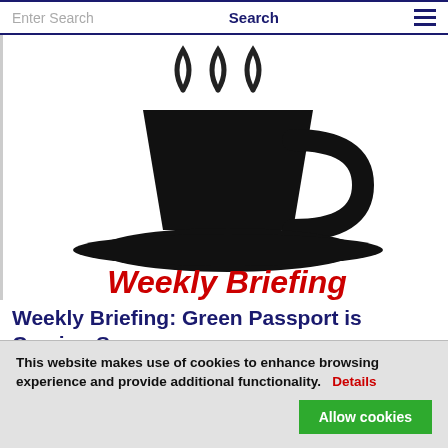Enter Search  Search  ☰
[Figure (illustration): Black silhouette of a teacup with steam rising above it on a saucer, with red bold text 'Weekly Briefing' partially visible at the bottom of the image area.]
Weekly Briefing: Green Passport is Coming Soon
After the EU countries and the EU Parliament have agreed on the framework for an Europe-wide Green
This website makes use of cookies to enhance browsing experience and provide additional functionality.  Details  Allow cookies